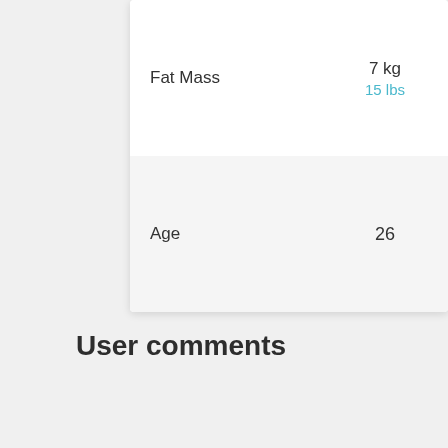|  | Value 1 |  | Value 2 |
| --- | --- | --- | --- |
| Fat Mass | 7 kg / 15 lbs |  | 6.2 kg / 14 lbs |
| Age | 26 |  | 30 |
User comments